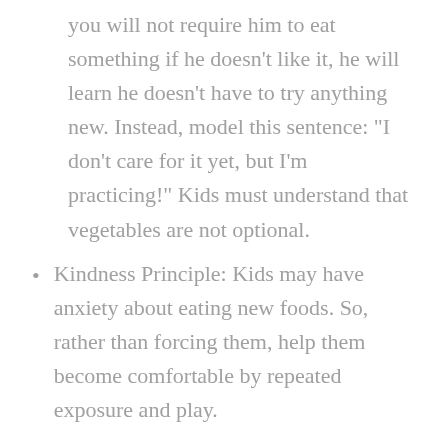you will not require him to eat something if he doesn't like it, he will learn he doesn't have to try anything new. Instead, model this sentence: “I don’t care for it yet, but I’m practicing!” Kids must understand that vegetables are not optional.
Kindness Principle: Kids may have anxiety about eating new foods. So, rather than forcing them, help them become comfortable by repeated exposure and play.
Play with Your Veggies